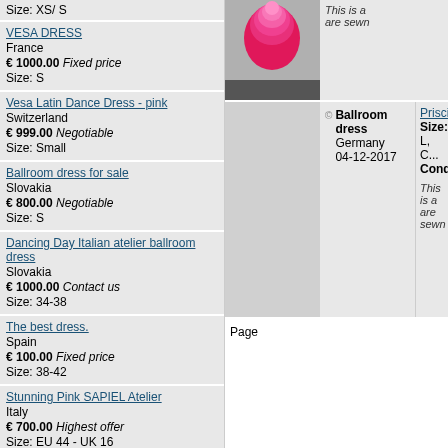Size: XS/ S
VESA DRESS
France
€ 1000.00 Fixed price
Size: S
Vesa Latin Dance Dress - pink
Switzerland
€ 999.00 Negotiable
Size: Small
Ballroom dress for sale
Slovakia
€ 800.00 Negotiable
Size: S
Dancing Day Italian atelier ballroom dress
Slovakia
€ 1000.00 Contact us
Size: 34-38
The best dress.
Spain
€ 100.00 Fixed price
Size: 38-42
Stunning Pink SAPIEL Atelier
Italy
€ 700.00 Highest offer
Size: EU 44 - UK 16
Enchanting standard
Ukraine
€ 1400.00 Negotiable
Size: XS-S, 36-38
Classy Lilac Dress with Swarovski Crystals
United States
€ 500.00 Negotiable
Size: US 0-2
Stunning Turquoise made for Blackpool
United States
[Figure (photo): Pink ballroom/latin dance dress photo]
This is a ... are sewn...
Ballroom dress
Germany
04-12-2017
Priscilla...
Size: L, C...
Condition...
This is a ... are sewn...
Page